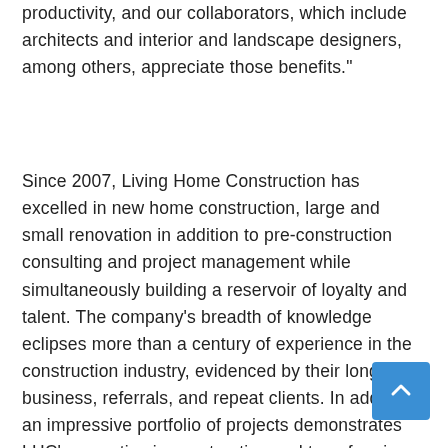productivity, and our collaborators, which include architects and interior and landscape designers, among others, appreciate those benefits."
Since 2007, Living Home Construction has excelled in new home construction, large and small renovation in addition to pre-construction consulting and project management while simultaneously building a reservoir of loyalty and talent. The company's breadth of knowledge eclipses more than a century of experience in the construction industry, evidenced by their long-term business, referrals, and repeat clients. In addition, an impressive portfolio of projects demonstrates LHC's expertise in constructing and transforming houses into homes. From mountain rustic to hi[Historic/] craftsman to contemporary modern, their pred[ominate/] and ever-evolving building practices are informed